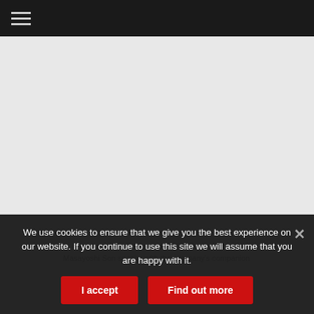≡ (navigation menu icon)
[Figure (photo): Main content area showing a photo (partially visible) related to SoftBank Corp. CEO Masayoshi Son speaking with the company's companion robot.]
In this June 18, 2015, photo, SoftBank Corp. CEO Masayoshi Son speaks with the company's companion
We use cookies to ensure that we give you the best experience on our website. If you continue to use this site we will assume that you are happy with it.
I accept
Find out more